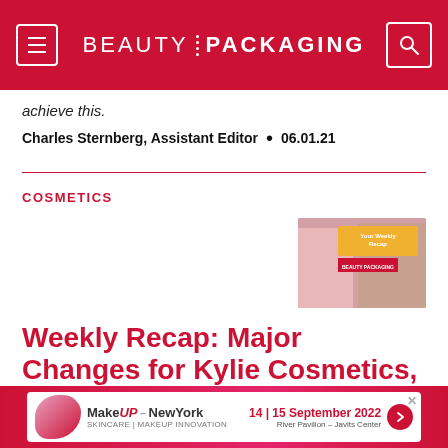BEAUTY PACKAGING
achieve this.
Charles Sternberg, Assistant Editor • 06.01.21
COSMETICS
[Figure (photo): Thumbnail image showing 'Your Weekly Recap' Beauty Packaging video thumbnail with a man on phone]
Weekly Recap: Major Changes for Kylie Cosmetics, Alex Rodriguez Sells Makeup fo...
[Figure (infographic): MakeUP-NewYork advertisement banner: 14 | 15 September 2022, River Pavilion - Javits Center]